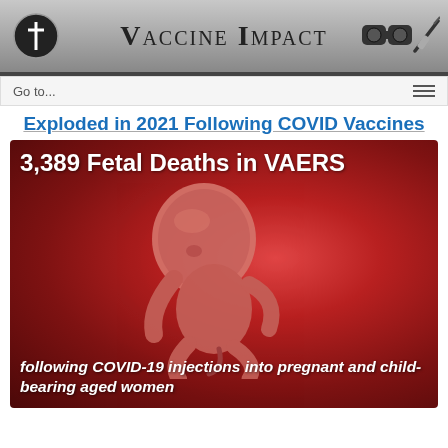Vaccine Impact
Go to...
Exploded in 2021 Following COVID Vaccines
[Figure (infographic): Dark red infographic showing a 3D rendered fetus on a red background with the text '3,389 Fetal Deaths in VAERS following COVID-19 injections into pregnant and child-bearing aged women']